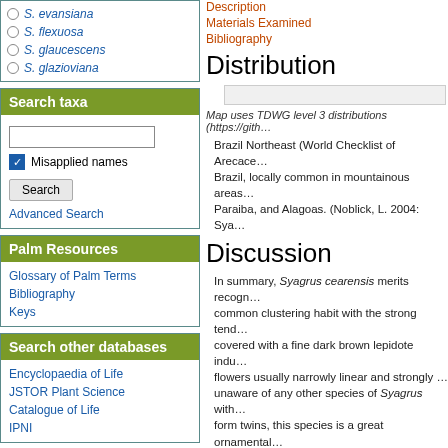S. evansiana
S. flexuosa
S. glaucescens
S. glazioviana
Search taxa
Misapplied names
Search
Advanced Search
Palm Resources
Glossary of Palm Terms
Bibliography
Keys
Search other databases
Encyclopaedia of Life
JSTOR Plant Science
Catalogue of Life
IPNI
Description
Materials Examined
Bibliography
Distribution
Map uses TDWG level 3 distributions (https://gith…
Brazil Northeast (World Checklist of Arecace… Brazil, locally common in mountainous areas… Paraiba, and Alagoas. (Noblick, L. 2004: Sya…
Discussion
In summary, Syagrus cearensis merits recogn… common clustering habit with the strong tend… covered with a fine dark brown lepidote indu… flowers usually narrowly linear and strongly … unaware of any other species of Syagrus with… form twins, this species is a great ornamental… Palm from Brazil)
Diagnosis
Palma caespitosa vel solitaria trunco conspic… centralibus ad 1 m longis 3.5–4 cm latis conc… floribus masculis ca. 12–21 × 5–7 mm, femin… ca. 4 cm longus, endocarpio ad 5 mm crass…